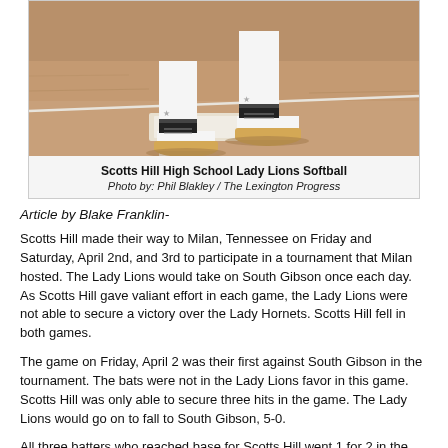[Figure (photo): A softball player's legs and feet on a dirt infield, wearing cleats and white uniform pants, near a base.]
Scotts Hill High School Lady Lions Softball
Photo by: Phil Blakley / The Lexington Progress
Article by Blake Franklin-
Scotts Hill made their way to Milan, Tennessee on Friday and Saturday, April 2nd, and 3rd to participate in a tournament that Milan hosted. The Lady Lions would take on South Gibson once each day. As Scotts Hill gave valiant effort in each game, the Lady Lions were not able to secure a victory over the Lady Hornets. Scotts Hill fell in both games.
The game on Friday, April 2 was their first against South Gibson in the tournament. The bats were not in the Lady Lions favor in this game. Scotts Hill was only able to secure three hits in the game. The Lady Lions would go on to fall to South Gibson, 5-0.
All three batters who reached base for Scotts Hill went 1 for 2 in the game. Scotts Fran...